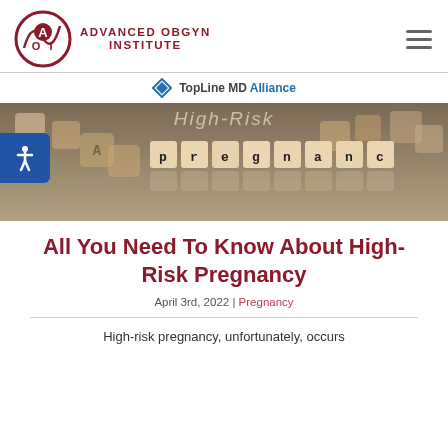ADVANCED OBGYN INSTITUTE
[Figure (logo): Advanced OBGYN Institute logo with AOI circular emblem in dark red]
[Figure (logo): TopLine MD Alliance logo with diamond/arrow icon]
[Figure (photo): Photo of letter dice spelling 'High Risk pregnancy' on a wooden surface, blurred background]
All You Need To Know About High-Risk Pregnancy
April 3rd, 2022 | Pregnancy
High-risk pregnancy, unfortunately, occurs